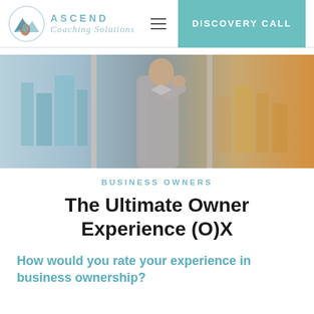[Figure (logo): Ascend Coaching Solutions logo with circular mountain/water icon and teal text]
[Figure (photo): Business man in dress shirt standing at large window looking at city skyline, appearing stressed or contemplative, holding hand to face]
BUSINESS OWNERS
The Ultimate Owner Experience (O)X
How would you rate your experience in business ownership?